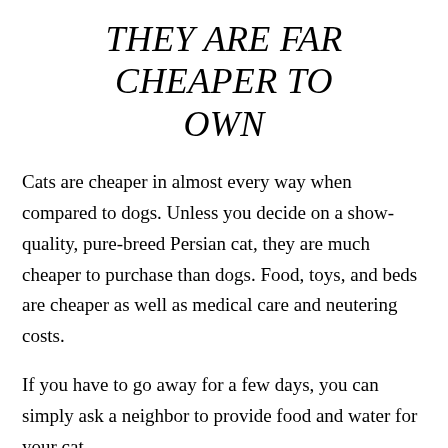THEY ARE FAR CHEAPER TO OWN
Cats are cheaper in almost every way when compared to dogs. Unless you decide on a show-quality, pure-breed Persian cat, they are much cheaper to purchase than dogs. Food, toys, and beds are cheaper as well as medical care and neutering costs.
If you have to go away for a few days, you can simply ask a neighbor to provide food and water for your cat